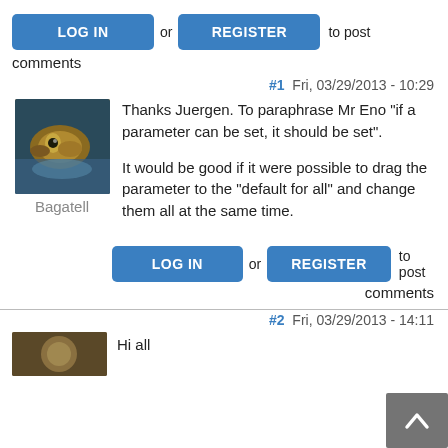LOG IN  or  REGISTER  to post comments
#1  Fri, 03/29/2013 - 10:29
[Figure (photo): Close-up photo of a squid or cuttlefish against a blue background]
Bagatell
Thanks Juergen. To paraphrase Mr Eno "if a parameter can be set, it should be set".
It would be good if it were possible to drag the parameter to the "default for all" and change them all at the same time.
LOG IN  or  REGISTER  to post comments
#2  Fri, 03/29/2013 - 14:11
Hi all